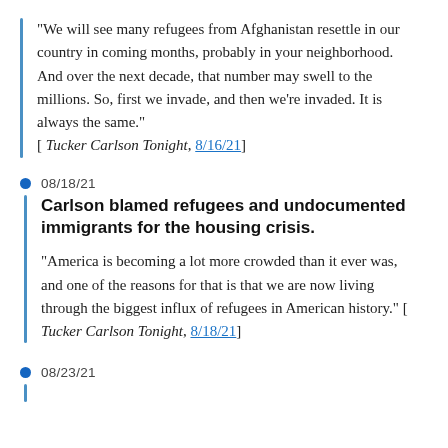“We will see many refugees from Afghanistan resettle in our country in coming months, probably in your neighborhood. And over the next decade, that number may swell to the millions. So, first we invade, and then we’re invaded. It is always the same.” [ Tucker Carlson Tonight, 8/16/21]
08/18/21
Carlson blamed refugees and undocumented immigrants for the housing crisis.
“America is becoming a lot more crowded than it ever was, and one of the reasons for that is that we are now living through the biggest influx of refugees in American history.” [ Tucker Carlson Tonight, 8/18/21]
08/23/21